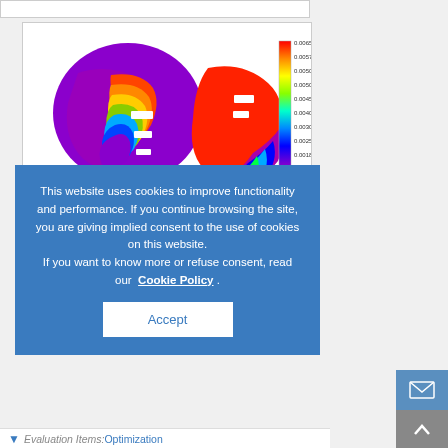[Figure (engineering-diagram): FEM/FEA contour plot showing two rotor/blade cross-section views side by side with a rainbow color scale (purple to red) and a vertical colorbar with numeric labels from 0.0010 to 0.0065. Left view shows banded stress/strain distribution, right view shows mostly red (high value) distribution with a small gradient region.]
This website uses cookies to improve functionality and performance. If you continue browsing the site, you are giving implied consent to the use of cookies on this website. If you want to know more or refuse consent, read our Cookie Policy .
Accept
Evaluation Items: Optimization